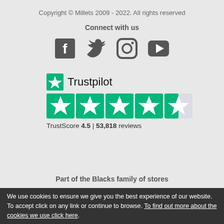Copyright © Millets 2009 - 2022. All rights reserved
Connect with us
[Figure (illustration): Social media icons: Facebook, Twitter, Instagram, YouTube]
[Figure (logo): Trustpilot logo with green star and text, plus 4.5 out of 5 star rating. TrustScore 4.5 | 53,818 reviews]
TrustScore 4.5 | 53,818 reviews
Part of the Blacks family of stores
We use cookies to ensure we give you the best experience of our website. To accept click on any link or continue to browse. To find out more about the cookies we use click here.